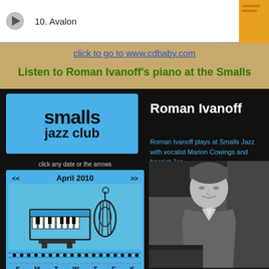[Figure (screenshot): Media player showing track '10. Avalon' with duration 3:53 and play button]
click to go to www.cdbaby.com
Listen to Roman Ivanoff's piano at the Smalls
[Figure (screenshot): Smalls Jazz Club website screenshot showing logo, Roman Ivanoff name, April 2010 calendar widget with piano/bass illustration, and black-and-white photo of Roman Ivanoff at piano]